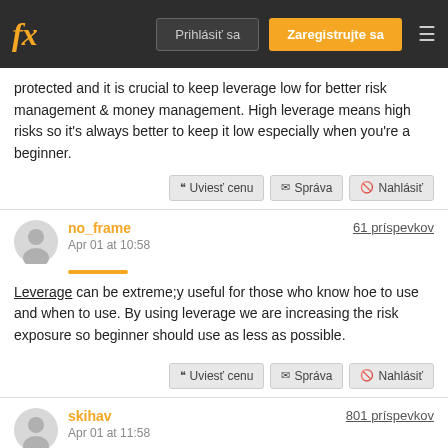fx | Prihlásiť sa | Zaregistrujte sa
protected and it is crucial to keep leverage low for better risk management & money management. High leverage means high risks so it's always better to keep it low especially when you're a beginner.
no_frame | Apr 01 at 10:58 | 61 príspevkov
Leverage can be extreme;y useful for those who know hoe to use and when to use. By using leverage we are increasing the risk exposure so beginner should use as less as possible.
skihav | Apr 01 at 11:58 | 801 príspevkov
This is definitely important, but it depends on many factors that also have their own weight and significance.